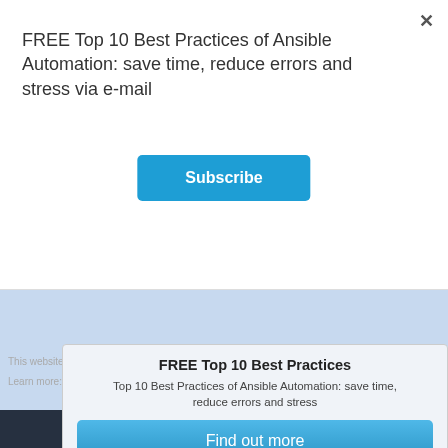FREE Top 10 Best Practices of Ansible Automation: save time, reduce errors and stress via e-mail
[Figure (screenshot): Blue 'Subscribe' button]
[Figure (screenshot): Light blue background area representing a webpage screenshot]
[Figure (screenshot): Dark navy bar partially visible at bottom]
This website uses cookies to enable...
Learn more
FREE Top 10 Best Practices
Top 10 Best Practices of Ansible Automation: save time, reduce errors and stress
Find out more
close